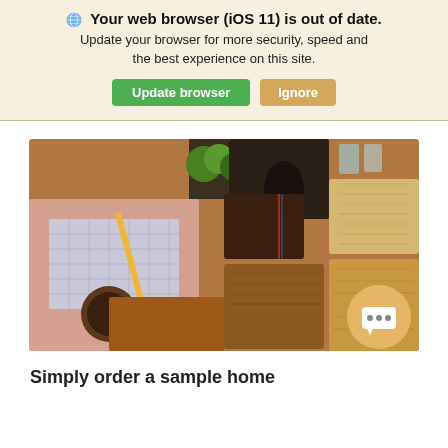🌐 Your web browser (iOS 11) is out of date. Update your browser for more security, speed and the best experience on this site. [Update browser] [Ignore]
[Figure (photo): Overhead flat-lay photo showing wood material sample swatches, a pencil on a notepad, small potted plants, a mouse, and a chat bubble icon overlay in the bottom right corner.]
Simply order a sample home